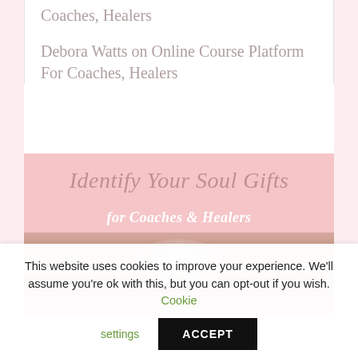Coaches, Healers
Debora Watts on Online Course Platform For Coaches, Healers
[Figure (illustration): Promotional image with pink background showing 'Identify Your Soul Gifts for Coaches & Healers' text overlaid on an image of hands cupped together with glowing light]
This website uses cookies to improve your experience. We'll assume you're ok with this, but you can opt-out if you wish. Cookie settings ACCEPT